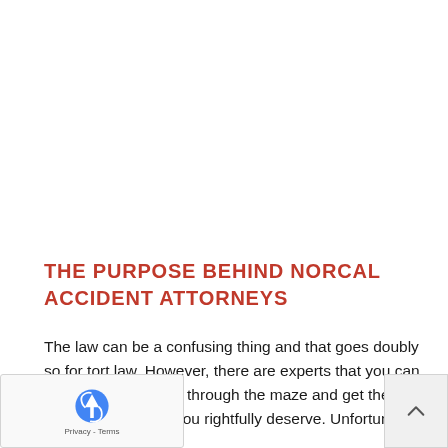THE PURPOSE BEHIND NORCAL ACCIDENT ATTORNEYS
The law can be a confusing thing and that goes doubly so for tort law. However, there are experts that you can use to help navigate through the maze and get the compensation that you rightfully deserve. Unfortunately,